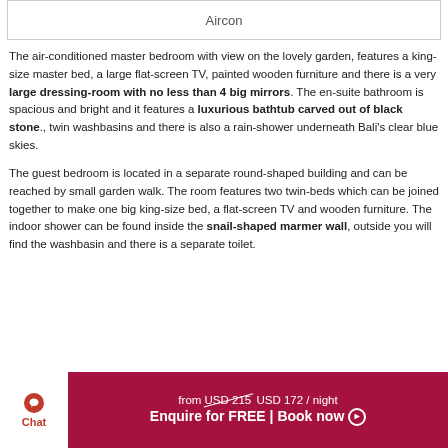Aircon
The air-conditioned master bedroom with view on the lovely garden, features a king-size master bed, a large flat-screen TV, painted wooden furniture and there is a very large dressing-room with no less than 4 big mirrors. The en-suite bathroom is spacious and bright and it features a luxurious bathtub carved out of black stone., twin washbasins and there is also a rain-shower underneath Bali's clear blue skies.
The guest bedroom is located in a separate round-shaped building and can be reached by small garden walk. The room features two twin-beds which can be joined together to make one big king-size bed, a flat-screen TV and wooden furniture. The indoor shower can be found inside the snail-shaped marmer wall, outside you will find the washbasin and there is a separate toilet.
from USD 215 USD 172 / night
Enquire for FREE | Book now